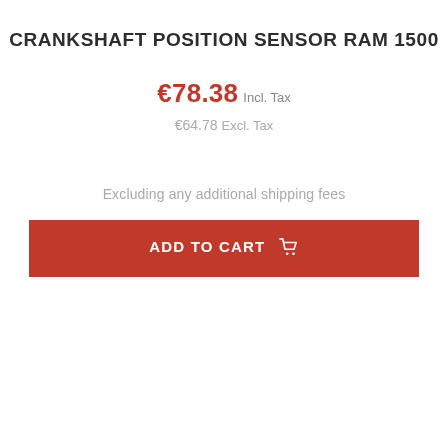CRANKSHAFT POSITION SENSOR RAM 1500
€78.38 Incl. Tax
€64.78 Excl. Tax
Excluding any additional shipping fees
ADD TO CART